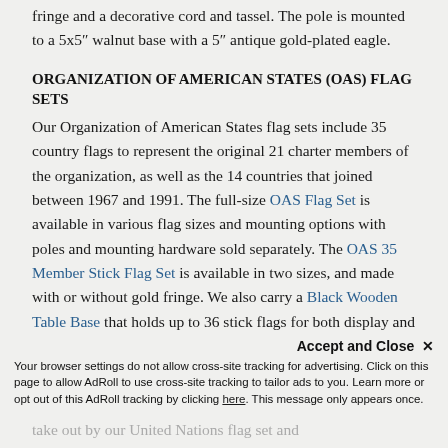fringe and a decorative cord and tassel. The pole is mounted to a 5x5" walnut base with a 5" antique gold-plated eagle.
ORGANIZATION OF AMERICAN STATES (OAS) FLAG SETS
Our Organization of American States flag sets include 35 country flags to represent the original 21 charter members of the organization, as well as the 14 countries that joined between 1967 and 1991. The full-size OAS Flag Set is available in various flag sizes and mounting options with poles and mounting hardware sold separately. The OAS 35 Member Stick Flag Set is available in two sizes, and made with or without gold fringe. We also carry a Black Wooden Table Base that holds up to 36 stick flags for both display and teaching purposes.
UNITED NATIONS (UN) FLAG SETS
Our United Nations flag sets include 193 national flags representing the 193 sovereign states that are members of the United Nations flag set and
Accept and Close ✕
Your browser settings do not allow cross-site tracking for advertising. Click on this page to allow AdRoll to use cross-site tracking to tailor ads to you. Learn more or opt out of this AdRoll tracking by clicking here. This message only appears once.